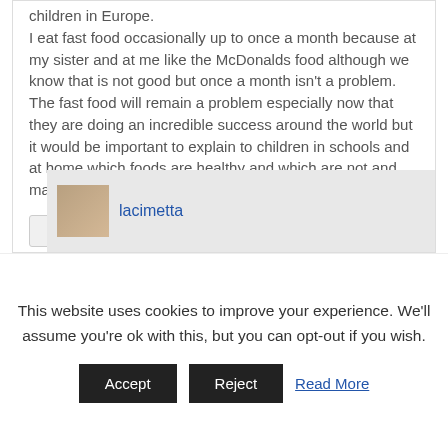children in Europe.
I eat fast food occasionally up to once a month because at my sister and at me like the McDonalds food although we know that is not good but once a month isn't a problem.
The fast food will remain a problem especially now that they are doing an incredible success around the world but it would be important to explain to children in schools and at home which foods are healthy and which are not and make a lot of physical activity.
Reply ↓
lacimetta
This website uses cookies to improve your experience. We'll assume you're ok with this, but you can opt-out if you wish.
Accept
Reject
Read More